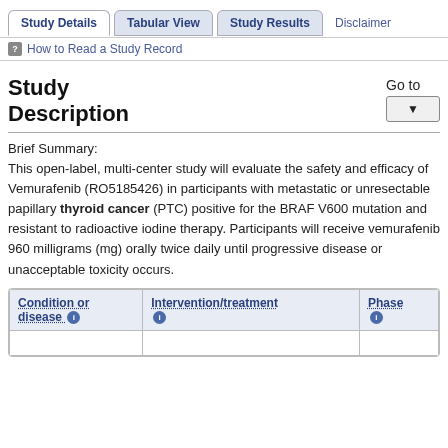Study Details | Tabular View | Study Results | Disclaimer
How to Read a Study Record
Study Description
Brief Summary:
This open-label, multi-center study will evaluate the safety and efficacy of Vemurafenib (RO5185426) in participants with metastatic or unresectable papillary thyroid cancer (PTC) positive for the BRAF V600 mutation and resistant to radioactive iodine therapy. Participants will receive vemurafenib 960 milligrams (mg) orally twice daily until progressive disease or unacceptable toxicity occurs.
| Condition or disease | Intervention/treatment | Phase |
| --- | --- | --- |
|  |  |  |